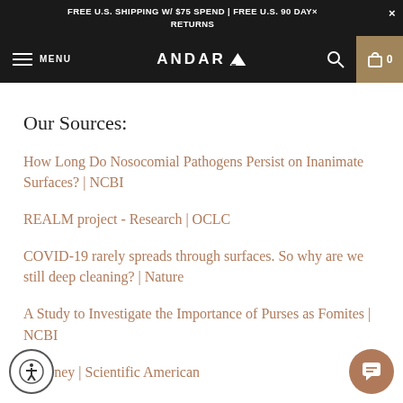FREE U.S. SHIPPING W/ $75 SPEND | FREE U.S. 90 DAY RETURNS
[Figure (screenshot): Andar website navigation bar with hamburger menu, ANDAR logo with triangle icon, search icon, and cart icon with count 0]
Our Sources:
How Long Do Nosocomial Pathogens Persist on Inanimate Surfaces? | NCBI
REALM project - Research | OCLC
COVID-19 rarely spreads through surfaces. So why are we still deep cleaning? | Nature
A Study to Investigate the Importance of Purses as Fomites | NCBI
y Money | Scientific American